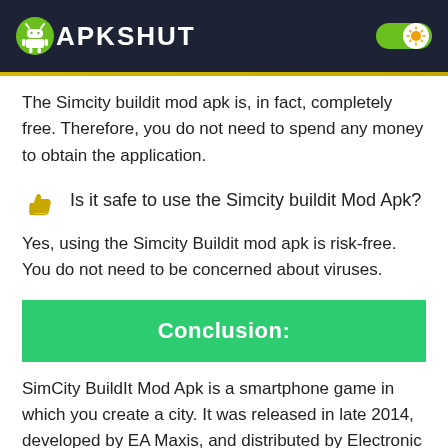APKSHUT
The Simcity buildit mod apk is, in fact, completely free. Therefore, you do not need to spend any money to obtain the application.
Is it safe to use the Simcity buildit Mod Apk?
Yes, using the Simcity Buildit mod apk is risk-free. You do not need to be concerned about viruses.
Conclusion:
SimCity BuildIt Mod Apk is a smartphone game in which you create a city. It was released in late 2014, developed by EA Maxis, and distributed by Electronic Arts. The game is from the SimCity series. In the game, SimCity BuildIt, your mission is to...